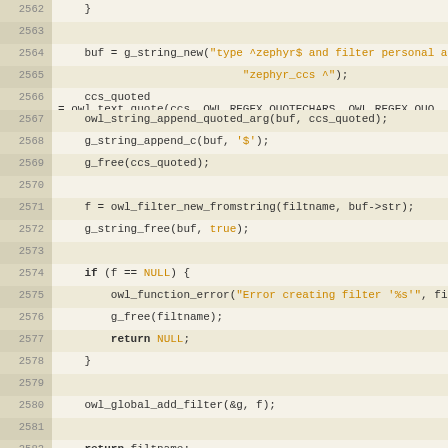[Figure (screenshot): Source code listing in C, lines 2562-2589+, showing code for creating a zephyr filter, with line numbers on the left and syntax highlighting (strings in orange, keywords in bold, comments in italic gray). Background alternates between light tan and slightly darker tan rows.]